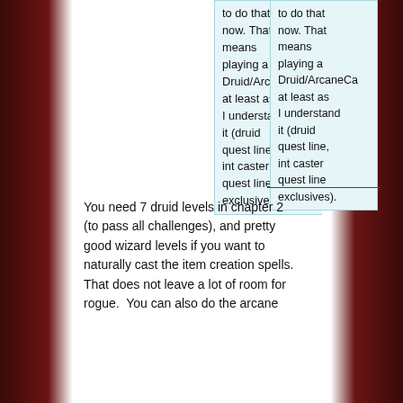to do that now. That means playing a Druid/ArcaneCaster at least as I understand it (druid quest line, int caster quest line exclusives).
You need 7 druid levels in chapter 2 (to pass all challenges), and pretty good wizard levels if you want to naturally cast the item creation spells.  That does not leave a lot of room for rogue.  You can also do the arcane